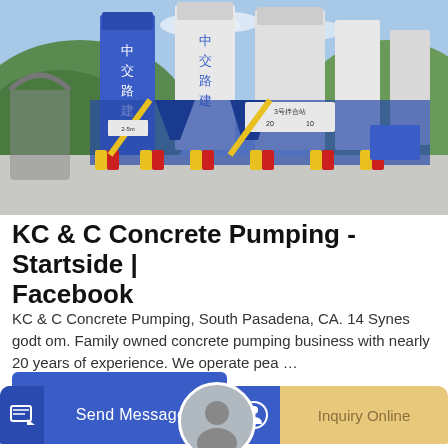[Figure (photo): Industrial concrete batching plant with tall blue and white silos bearing Chinese characters '中交路建', blue steel framework structure, yellow safety barriers, and concrete ground area, with green hills in background and blue sky.]
KC & C Concrete Pumping - Startside | Facebook
KC & C Concrete Pumping, South Pasadena, CA. 14 Synes godt om. Family owned concrete pumping business with nearly 20 years of experience. We operate pea …
GET A QUOTE
Send Message
Inquiry Online